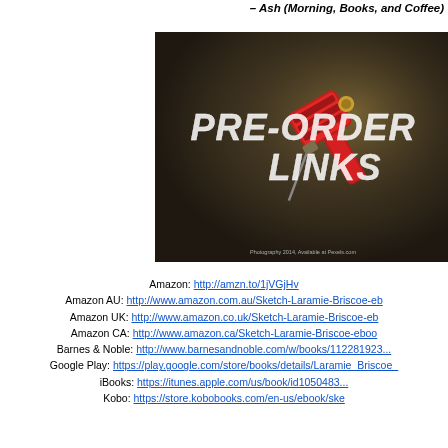– Ash (Morning, Books, and Coffee)
[Figure (photo): Dark grunge background image with a red tattoo machine/gun, overlaid with large white bold italic text reading 'PRE-ORDER LINKS'. Small watermark text at bottom reads 'Photography 2014, Available at Pexels.com'.]
Amazon: http://amzn.to/1jVGjHv
Amazon AU: http://www.amazon.com.au/Sketch-Laramie-Briscoe-eb...
Amazon UK: http://www.amazon.co.uk/Sketch-Laramie-Briscoe-eb...
Amazon CA: http://www.amazon.ca/Sketch-Laramie-Briscoe-eboo...
Barnes & Noble: http://www.barnesandnoble.com/w/books/112281923...
Google Play: https://play.google.com/store/books/details/Laramie_Briscoe_...
iBooks: https://itunes.apple.com/us/book/id1050483...
Kobo: https://store.kobobooks.com/en-us/ebook/ske...